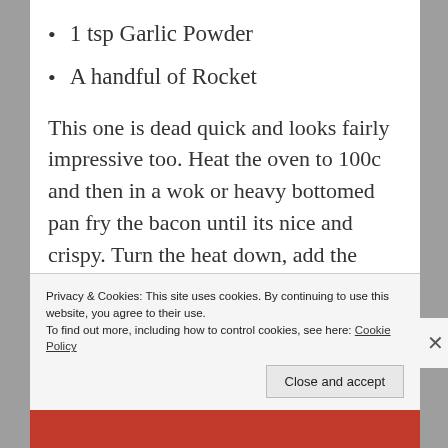1 tsp Garlic Powder
A handful of Rocket
This one is dead quick and looks fairly impressive too. Heat the oven to 100c and then in a wok or heavy bottomed pan fry the bacon until its nice and crispy. Turn the heat down, add the tomatoes and cook until soft. Add the paprika and garlic, stir and cook for a further few minutes.
Privacy & Cookies: This site uses cookies. By continuing to use this website, you agree to their use.
To find out more, including how to control cookies, see here: Cookie Policy
Close and accept